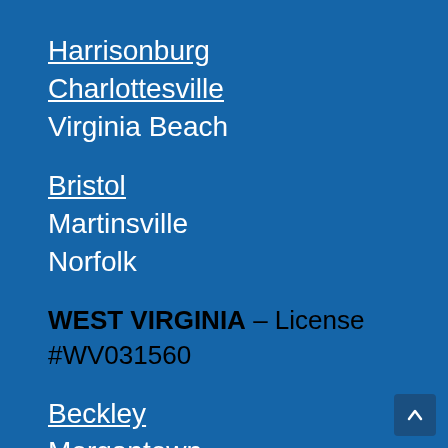Harrisonburg
Charlottesville
Virginia Beach
Bristol
Martinsville
Norfolk
WEST VIRGINIA – License #WV031560
Beckley
Morgantown
Clarksburg
Martinsburg
Huntington
Fairmont